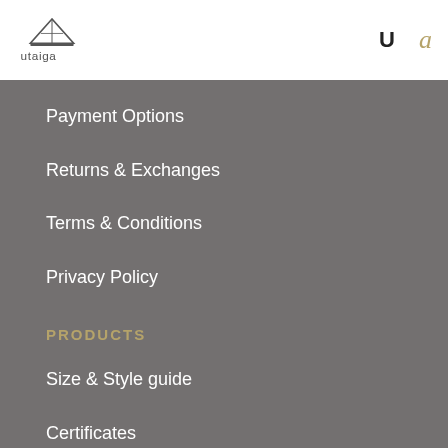[Figure (logo): Utaiga brand logo with stylized mountain/tent shape above the text 'utaiga']
Payment Options
Returns & Exchanges
Terms & Conditions
Privacy Policy
PRODUCTS
Size & Style guide
Certificates